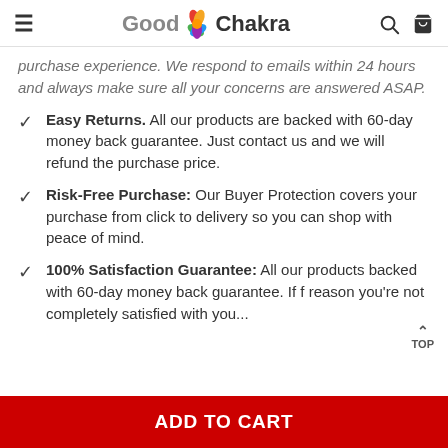Good Chakra
purchase experience. We respond to emails within 24 hours and always make sure all your concerns are answered ASAP.
Easy Returns. All our products are backed with 60-day money back guarantee. Just contact us and we will refund the purchase price.
Risk-Free Purchase: Our Buyer Protection covers your purchase from click to delivery so you can shop with peace of mind.
100% Satisfaction Guarantee: All our products backed with 60-day money back guarantee. If for any reason you're not completely satisfied with you...